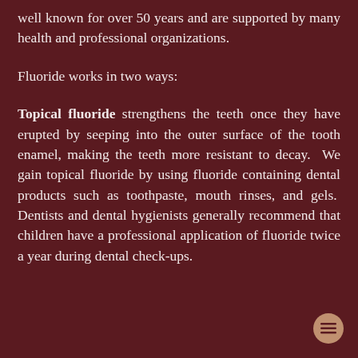well known for over 50 years and are supported by many health and professional organizations.
Fluoride works in two ways:
Topical fluoride strengthens the teeth once they have erupted by seeping into the outer surface of the tooth enamel, making the teeth more resistant to decay. We gain topical fluoride by using fluoride containing dental products such as toothpaste, mouth rinses, and gels. Dentists and dental hygienists generally recommend that children have a professional application of fluoride twice a year during dental check-ups.